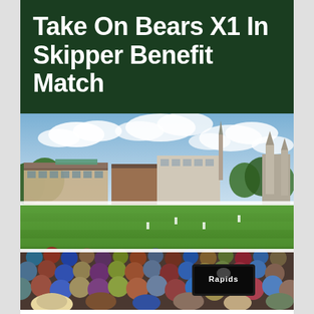Take On Bears X1 In Skipper Benefit Match
[Figure (photo): Aerial view of a cricket ground during a match, with a large crowd in the foreground, a green outfield, pavilion buildings on the left, a tall spire in the background center, and a Gothic cathedral visible on the right. A 'Rapids' branding banner is visible on the boundary.]